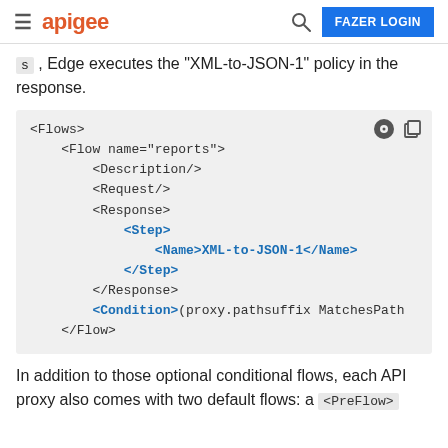apigee | FAZER LOGIN
s , Edge executes the "XML-to-JSON-1" policy in the response.
[Figure (screenshot): XML code block showing Flows/Flow element with Step containing Name XML-to-JSON-1 and a Condition with proxy.pathsuffix MatchesPath]
In addition to those optional conditional flows, each API proxy also comes with two default flows: a <PreFlow>